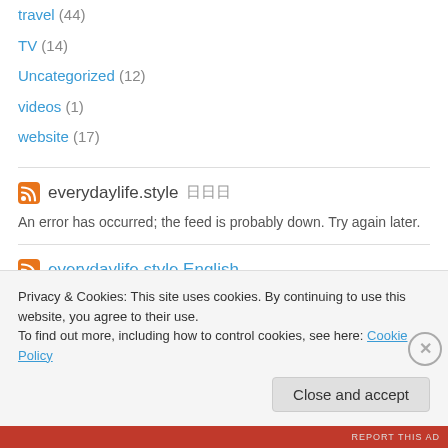technology (5)
travel (44)
TV (14)
Uncategorized (12)
videos (1)
website (17)
everydaylife.style 日日日
An error has occurred; the feed is probably down. Try again later.
everydaylife.style English
Privacy & Cookies: This site uses cookies. By continuing to use this website, you agree to their use.
To find out more, including how to control cookies, see here: Cookie Policy